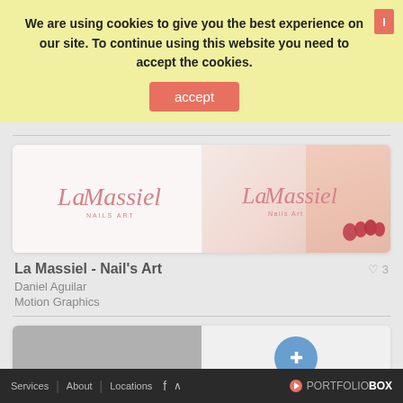We are using cookies to give you the best experience on our site. To continue using this website you need to accept the cookies.
accept
[Figure (screenshot): La Massiel Nail's Art portfolio card showing logo on white background (left) and logo with beauty/nail photo (right)]
La Massiel - Nail's Art
Daniel Aguilar
Motion Graphics
[Figure (screenshot): Second portfolio card showing gray image on left and circular icon on right, partially visible]
Services  About  Locations  f  PORTFOLIOBOX